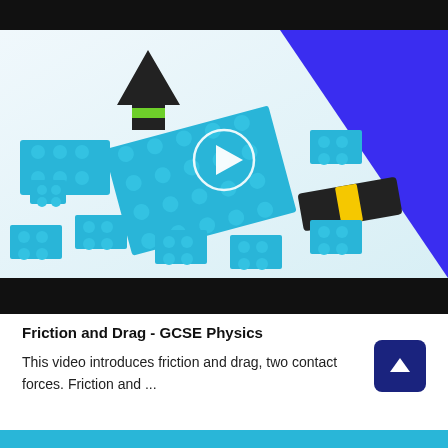[Figure (screenshot): Video thumbnail showing blue LEGO bricks scattered around with a dark arrow piece pointing upward and a yellow-striped dark piece in the center. A circular play button is overlaid in the middle. A blue diagonal banner in the top-right corner reads 'FRICTION' vertically. Black bars appear above and below the thumbnail image.]
Friction and Drag - GCSE Physics
This video introduces friction and drag, two contact forces. Friction and ...